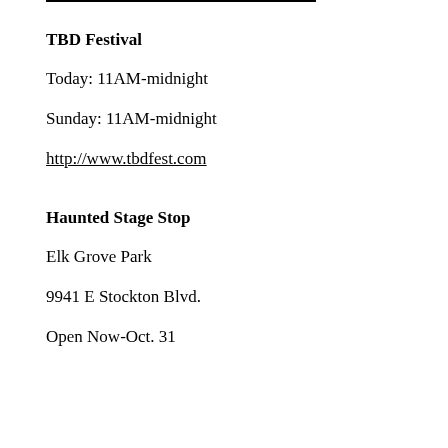TBD Festival
Today: 11AM-midnight
Sunday: 11AM-midnight
http://www.tbdfest.com
Haunted Stage Stop
Elk Grove Park
9941 E Stockton Blvd.
Open Now-Oct. 31